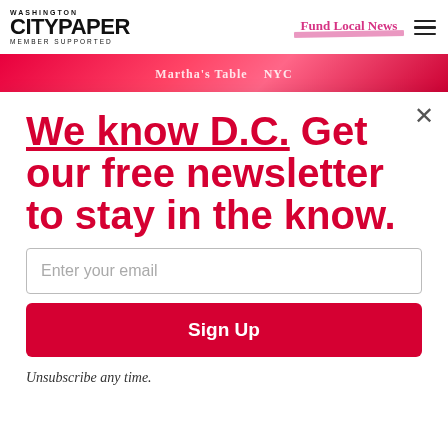WASHINGTON CITYPAPER MEMBER SUPPORTED
Fund Local News
[Figure (screenshot): Banner advertisement strip showing Martha's Table NYC logos on red/pink background]
We know D.C. Get our free newsletter to stay in the know.
Enter your email
Sign Up
Unsubscribe any time.